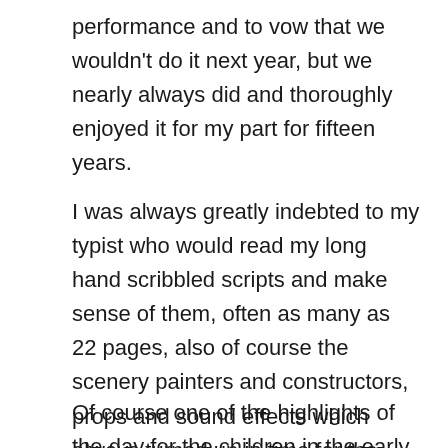performance and to vow that we wouldn't do it next year, but we nearly always did and thoroughly enjoyed it for my part for fifteen years.
I was always greatly indebted to my typist who would read my long hand scribbled scripts and make sense of them, often as many as 22 pages, also of course the scenery painters and constructors, props and sound effects which always turned up in time for the performance even if they weren't thought of until dress rehearsal!
Of course one of the highlights of the day for the children in the early years was the arrival of